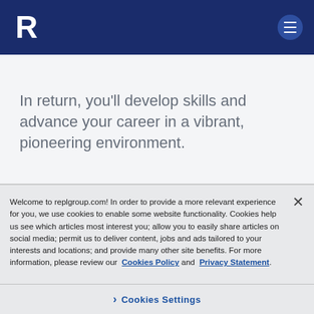[Figure (logo): REPL Group white logo on dark navy header bar with hamburger menu icon]
In return, you’ll develop skills and advance your career in a vibrant, pioneering environment.
Welcome to replgroup.com! In order to provide a more relevant experience for you, we use cookies to enable some website functionality. Cookies help us see which articles most interest you; allow you to easily share articles on social media; permit us to deliver content, jobs and ads tailored to your interests and locations; and provide many other site benefits. For more information, please review our Cookies Policy and Privacy Statement.
› Cookies Settings